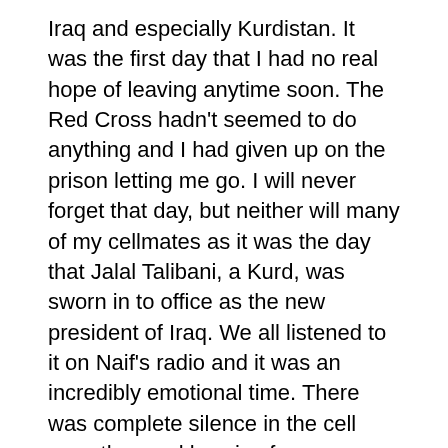Iraq and especially Kurdistan. It was the first day that I had no real hope of leaving anytime soon. The Red Cross hadn't seemed to do anything and I had given up on the prison letting me go. I will never forget that day, but neither will many of my cellmates as it was the day that Jalal Talibani, a Kurd, was sworn in to office as the new president of Iraq. We all listened to it on Naif's radio and it was an incredibly emotional time. There was complete silence in the cell save the crackly voice from Baghdad and the tears from many of the older Kurdish people in the room.
During the time of Saddam it was a tradition on important days such as this to open the prisons and release all inmates held without charge. In Kurdish this pardon is called afoo. We were all up most of the night discussing the possibilities of afoo for us. Innocents held without